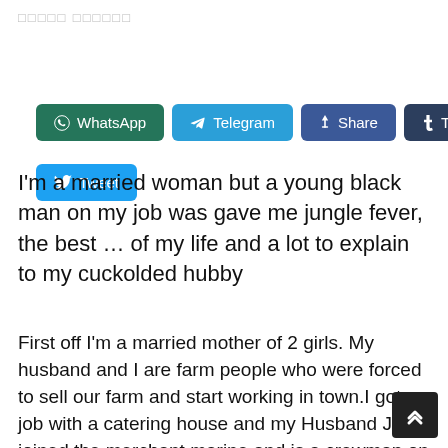□□□□□ □□□□□□
WhatsApp  Telegram  Share  Tumblr  Tweet
I'm a married woman but a young black man on my job was gave me jungle fever, the best … of my life and a lot to explain to my cuckolded hubby
First off I'm a married mother of 2 girls. My husband and I are farm people who were forced to sell our farm and start working in town.I got a job with a catering house and my Husband John joined the merchant marine and is a crewman on an oil tanker. He's gone for months at a time and I get so horny without him. I was